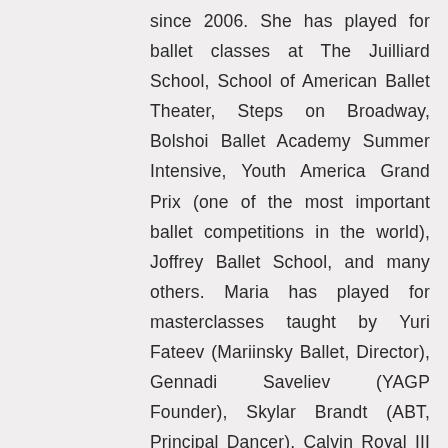since 2006. She has played for ballet classes at The Juilliard School, School of American Ballet Theater, Steps on Broadway, Bolshoi Ballet Academy Summer Intensive, Youth America Grand Prix (one of the most important ballet competitions in the world), Joffrey Ballet School, and many others. Maria has played for masterclasses taught by Yuri Fateev (Mariinsky Ballet, Director), Gennadi Saveliev (YAGP Founder), Skylar Brandt (ABT, Principal Dancer), Calvin Royal III (ABT, Principal Dancer), Maxim Beloserkovsky, Cory Stearns (ABT, Principal Dancer), and Heather